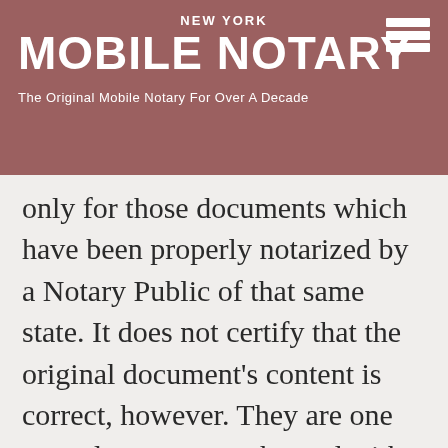NEW YORK MOBILE NOTARY — The Original Mobile Notary For Over A Decade
Apostille certificates are issued by the Secretary of State of the government only for those documents which have been properly notarized by a Notary Public of that same state. It does not certify that the original document's content is correct, however. They are one page documents embossed with the Great Seal of a State. An Apostille certificate can be obtained for virtually any public document. An Apostille is effective upon the date it is issued. An